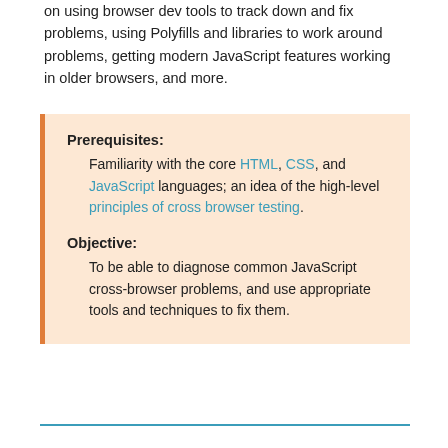on using browser dev tools to track down and fix problems, using Polyfills and libraries to work around problems, getting modern JavaScript features working in older browsers, and more.
Prerequisites: Familiarity with the core HTML, CSS, and JavaScript languages; an idea of the high-level principles of cross browser testing.
Objective: To be able to diagnose common JavaScript cross-browser problems, and use appropriate tools and techniques to fix them.